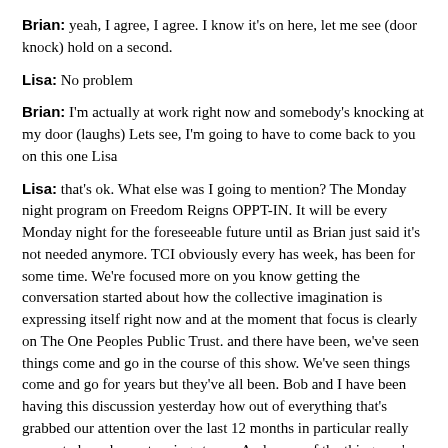Brian: yeah, I agree, I agree. I know it's on here, let me see (door knock) hold on a second.
Lisa: No problem
Brian: I'm actually at work right now and somebody's knocking at my door (laughs) Lets see, I'm going to have to come back to you on this one Lisa
Lisa: that's ok. What else was I going to mention? The Monday night program on Freedom Reigns OPPT-IN. It will be every Monday night for the foreseeable future until as Brian just said it's not needed anymore. TCI obviously every has week, has been for some time. We're focused more on you know getting the conversation started about how the collective imagination is expressing itself right now and at the moment that focus is clearly on The One Peoples Public Trust. and there have been, we've seen things come and go in the course of this show. We've seen things come and go for years but they've all been. Bob and I have been having this discussion yesterday how out of everything that's grabbed our attention over the last 12 months in particular really seems to have been stepping stones. And some of the things we've seen looked brilliant from a 3D perspective because they were really coming from a 4D place so they were absolutely a step up in the right direction and now OPPT's come along which to everybody's understanding seems to be coming from a 5d place so it's a step up yet again. So who knows what's next guys. Who knows what's around the corner and what it's going to look like